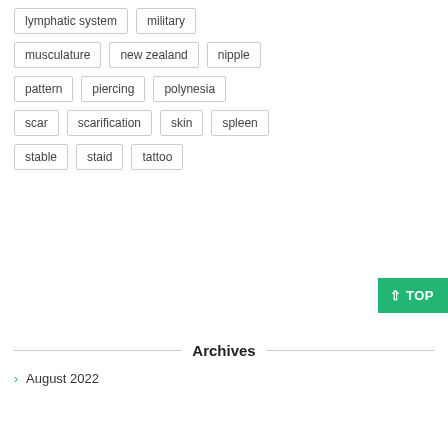lymphatic system
military
musculature
new zealand
nipple
pattern
piercing
polynesia
scar
scarification
skin
spleen
stable
staid
tattoo
Archives
August 2022